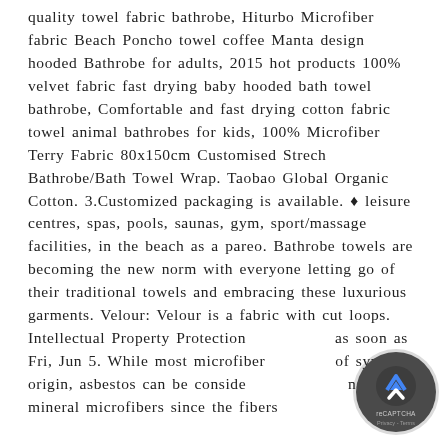quality towel fabric bathrobe, Hiturbo Microfiber fabric Beach Poncho towel coffee Manta design hooded Bathrobe for adults, 2015 hot products 100% velvet fabric fast drying baby hooded bath towel bathrobe, Comfortable and fast drying cotton fabric towel animal bathrobes for kids, 100% Microfiber Terry Fabric 80x150cm Customised Strech Bathrobe/Bath Towel Wrap. Taobao Global Organic Cotton. 3.Customized packaging is available. ♦ leisure centres, spas, pools, saunas, gym, sport/massage facilities, in the beach as a pareo. Bathrobe towels are becoming the new norm with everyone letting go of their traditional towels and embracing these luxurious garments. Velour: Velour is a fabric with cut loops. Intellectual Property Protection as soon as Fri, Jun 5. While most microfiber of synthetic origin, asbestos can be conside natural mineral microfibers since the fibers
[Figure (other): reCAPTCHA badge icon — dark circle with upward chevron arrow and 'reCAPTCHA' / 'Privacy - Terms' text]